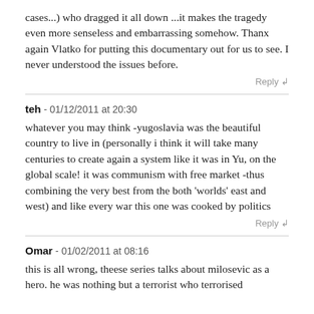cases...) who dragged it all down ...it makes the tragedy even more senseless and embarrassing somehow. Thanx again Vlatko for putting this documentary out for us to see. I never understood the issues before.
Reply ↲
teh - 01/12/2011 at 20:30
whatever you may think -yugoslavia was the beautiful country to live in (personally i think it will take many centuries to create again a system like it was in Yu, on the global scale! it was communism with free market -thus combining the very best from the both 'worlds' east and west) and like every war this one was cooked by politics
Reply ↲
Omar - 01/02/2011 at 08:16
this is all wrong, theese series talks about milosevic as a hero. he was nothing but a terrorist who terrorised